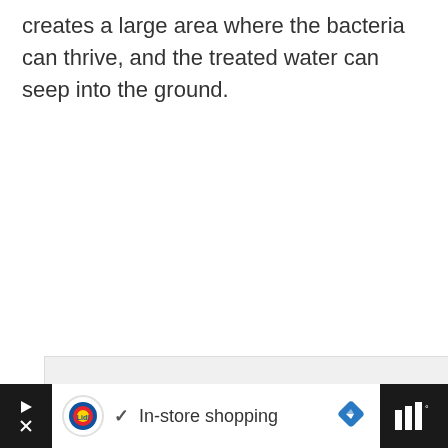creates a large area where the bacteria can thrive, and the treated water can seep into the ground.
[Figure (photo): Large light grey placeholder image area with three grey dots in center, and UI elements overlaid: a blue heart/favorite button, a white share button, and a 'What's Next' preview card showing 'Can You Have A Garbage...' with a thumbnail.]
[Figure (screenshot): Advertisement bar at the bottom: dark background on sides, white center with Lidl logo, checkmark, 'In-store shopping' text, blue diamond navigation icon, and weather/signal bars icon on right.]